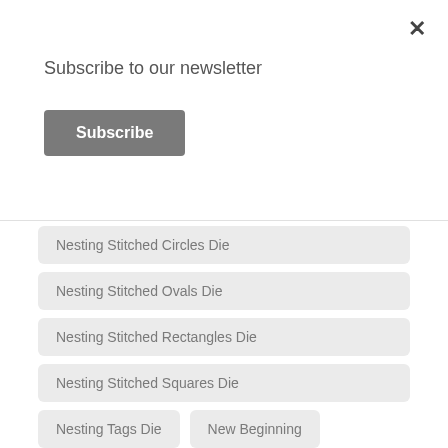×
Subscribe to our newsletter
Subscribe
Nesting Stitched Circles Die
Nesting Stitched Ovals Die
Nesting Stitched Rectangles Die
Nesting Stitched Squares Die
Nesting Tags Die
New Beginning
New Beginning Stencil
New Release
New Release Preview
New Release Sneak Peek
Ni Hao